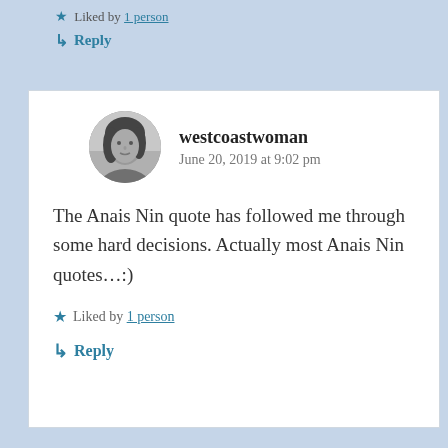★ Liked by 1 person
↳ Reply
[Figure (photo): Circular avatar photo of westcoastwoman, a woman in black and white]
westcoastwoman
June 20, 2019 at 9:02 pm
The Anais Nin quote has followed me through some hard decisions. Actually most Anais Nin quotes…:)
★ Liked by 1 person
↳ Reply